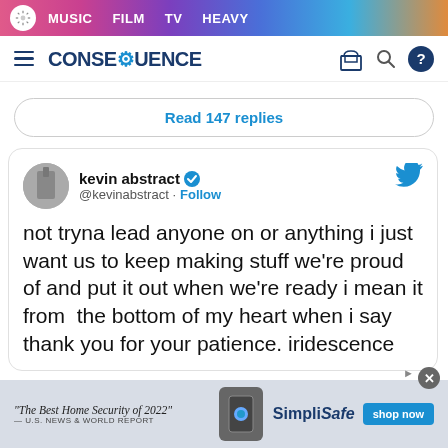MUSIC  FILM  TV  HEAVY
CONSEQUENCE
Read 147 replies
kevin abstract @kevinabstract · Follow
not tryna lead anyone on or anything i just want us to keep making stuff we're proud of and put it out when we're ready i mean it from  the bottom of my heart when i say thank you for your patience. iridescence
"The Best Home Security of 2022" — U.S. NEWS & WORLD REPORT  SimpliSafe  shop now